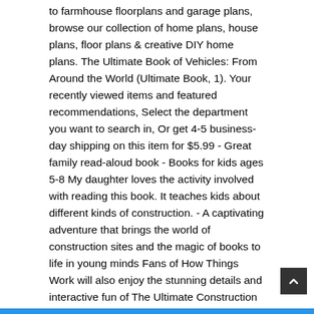to farmhouse floorplans and garage plans, browse our collection of home plans, house plans, floor plans & creative DIY home plans. The Ultimate Book of Vehicles: From Around the World (Ultimate Book, 1). Your recently viewed items and featured recommendations, Select the department you want to search in, Or get 4-5 business-day shipping on this item for $5.99 - Great family read-aloud book - Books for kids ages 5-8 My daughter loves the activity involved with reading this book. It teaches kids about different kinds of construction. - A captivating adventure that brings the world of construction sites and the magic of books to life in young minds Fans of How Things Work will also enjoy the stunning details and interactive fun of The Ultimate Construction Site Book. The Ultimate Construction Site Book (Ultimate Book (2)) by Anne-Sophie Baumann Hardcover Book See Other Available Editions Description The sounds, sights, and